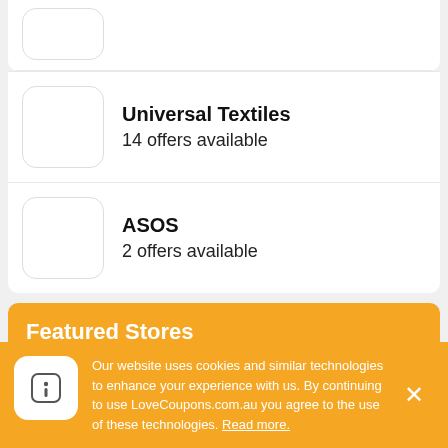Universal Textiles
14 offers available
ASOS
2 offers available
Featured Stores
Myer
21 offers available
Our website uses cookies and similar technologies to enhance your experience with us. By continuing to use LoveCoupons.com.au you agree to the use of these technologies. Read more.